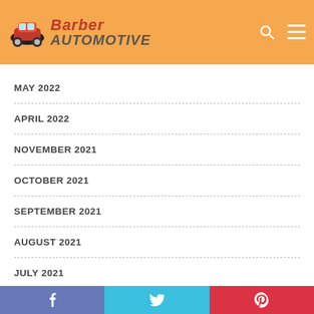Barber AUTOMOTIVE
MAY 2022
APRIL 2022
NOVEMBER 2021
OCTOBER 2021
SEPTEMBER 2021
AUGUST 2021
JULY 2021
JUNE 2021
MAY 2021
f  t  P